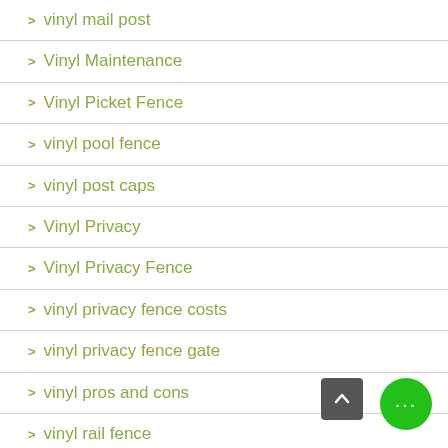vinyl mail post
Vinyl Maintenance
Vinyl Picket Fence
vinyl pool fence
vinyl post caps
Vinyl Privacy
Vinyl Privacy Fence
vinyl privacy fence costs
vinyl privacy fence gate
vinyl pros and cons
vinyl rail fence